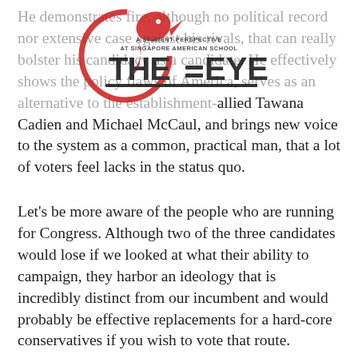He demonstrates fire, although no political record nor extensive case against his rivals, that can really bolster his candidacy as a candidate. He effectively shows the policy flaws of America, serves as an alternative to the establishment-allied Tawana Cadien and Michael McCaul, and brings new voice to the system as a common, practical man, that a lot of voters feel lacks in the status quo.
[Figure (logo): The Eye — A Student Perspective at Singapore American School logo, featuring a red eagle/bird silhouette and bold THE=EYE text]
Let's be more aware of the people who are running for Congress. Although two of the three candidates would lose if we looked at what their ability to campaign, they harbor an ideology that is incredibly distinct from our incumbent and would probably be effective replacements for a hard-core conservatives if you wish to vote that route.